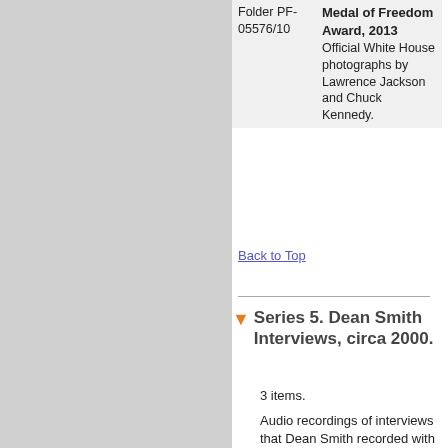| Folder | Title/Description |
| --- | --- |
| PF-05576/10 | Medal of Freedom Award, 2013
Official White House photographs by Lawrence Jackson and Chuck Kennedy. |
Back to Top
Series 5. Dean Smith Interviews, circa 2000.
3 items.
Audio recordings of interviews that Dean Smith recorded with co-authors Sally Jenkins